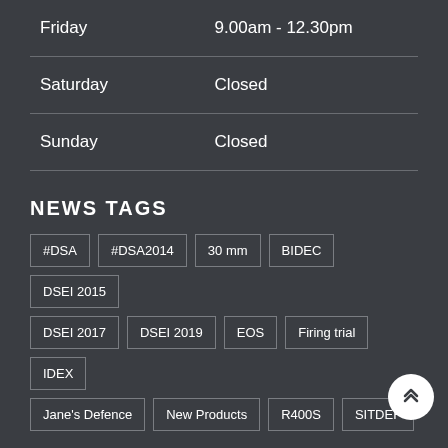| Day | Hours |
| --- | --- |
| Friday | 9.00am - 12.30pm |
| Saturday | Closed |
| Sunday | Closed |
NEWS TAGS
#DSA
#DSA2014
30 mm
BIDEC
DSEI 2015
DSEI 2017
DSEI 2019
EOS
Firing trial
IDEX
Jane's Defence
New Products
R400S
SITDEF